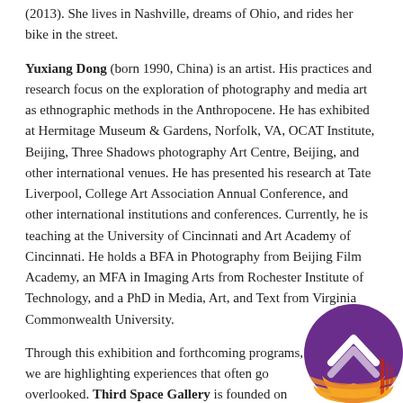(2013). She lives in Nashville, dreams of Ohio, and rides her bike in the street.
Yuxiang Dong (born 1990, China) is an artist. His practices and research focus on the exploration of photography and media art as ethnographic methods in the Anthropocene. He has exhibited at Hermitage Museum & Gardens, Norfolk, VA, OCAT Institute, Beijing, Three Shadows photography Art Centre, Beijing, and other international venues. He has presented his research at Tate Liverpool, College Art Association Annual Conference, and other international institutions and conferences. Currently, he is teaching at the University of Cincinnati and Art Academy of Cincinnati. He holds a BFA in Photography from Beijing Film Academy, an MFA in Imaging Arts from Rochester Institute of Technology, and a PhD in Media, Art, and Text from Virginia Commonwealth University.
Through this exhibition and forthcoming programs, we are highlighting experiences that often go overlooked. Third Space Gallery is founded on the goal to promote a welcome and open community for artists and creatives that are otherwise marginalized. We will foster an open and safe environment for all.
[Figure (logo): Circular logo with purple background and orange/yellow lower portion, containing a white upward chevron/arrow symbol, positioned in the bottom-right corner of the page.]